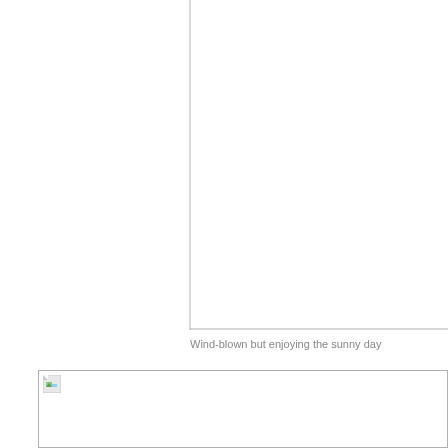[Figure (photo): Partial view of a photo frame or image placeholder — top portion visible with L-shaped border lines on left and bottom edges. Image content is not visible.]
Wind-blown but enjoying the sunny day
[Figure (photo): Broken image placeholder with small icon in top-left corner — bottom image not loaded.]